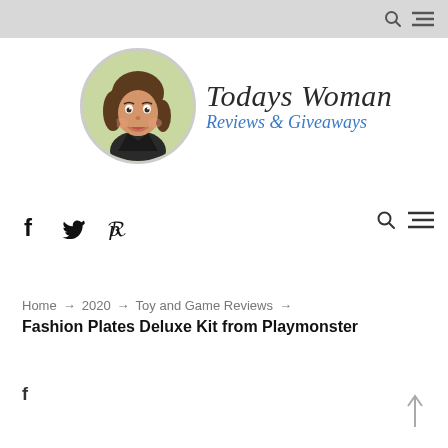[Figure (logo): Todays Woman Reviews & Giveaways logo with illustrated woman avatar in a circle and italic text logo]
Home → 2020 → Toy and Game Reviews →
Fashion Plates Deluxe Kit from Playmonster